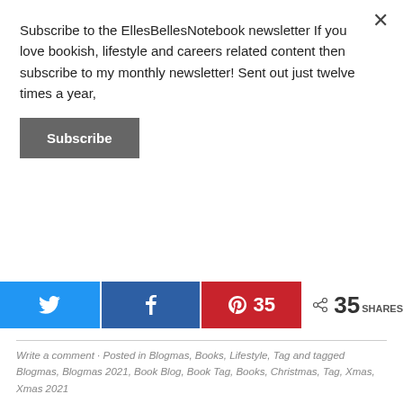Subscribe to the EllesBellesNotebook newsletter If you love bookish, lifestyle and careers related content then subscribe to my monthly newsletter! Sent out just twelve times a year,
Subscribe
[Figure (other): Social share bar with Twitter, Facebook, and Pinterest buttons, plus a total of 35 shares]
Write a comment · Posted in Blogmas, Books, Lifestyle, Tag and tagged Blogmas, Blogmas 2021, Book Blog, Book Tag, Books, Christmas, Tag, Xmas, Xmas 2021
← Stocking Fillers Under £5
Christmas Film Drinking Games | 2021 →
LEAVE A REPLY